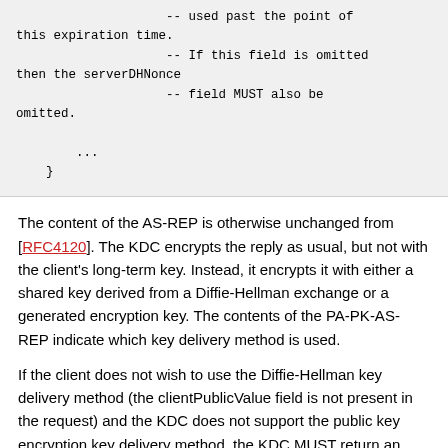-- used past the point of this expiration time.
                    -- If this field is omitted then the serverDHNonce
                    -- field MUST also be omitted.
        ...
    }
The content of the AS-REP is otherwise unchanged from [RFC4120]. The KDC encrypts the reply as usual, but not with the client's long-term key. Instead, it encrypts it with either a shared key derived from a Diffie-Hellman exchange or a generated encryption key. The contents of the PA-PK-AS-REP indicate which key delivery method is used.
If the client does not wish to use the Diffie-Hellman key delivery method (the clientPublicValue field is not present in the request) and the KDC does not support the public key encryption key delivery method, the KDC MUST return an error message with the code